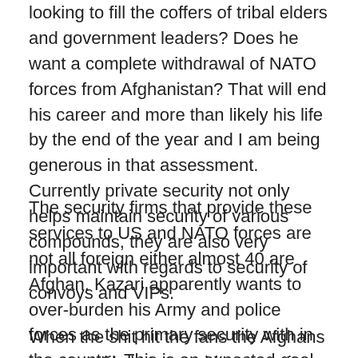looking to fill the coffers of tribal elders and government leaders? Does he want a complete withdrawal of NATO forces from Afghanistan? That will end his career and more than likely his life by the end of the year and I am being generous in that assessment. Currently private security not only helps maintain security of various compounds, they are also very important with regards to security of convoys and VIPs.
The security firms that provide these services to US and NATO forces are not all foreign either almost 40 are Afghan. Kazari apparently wants to over-burden his Army and police forces as the primary security with in the country. This is an expected goal to set, however you have to work to it. At this point neither the Afghan police forces nor the Afghan Army is up to the task in the least.
When the shit hit the fans the Afghans are more likely to consider removing themselves from the area and wait for